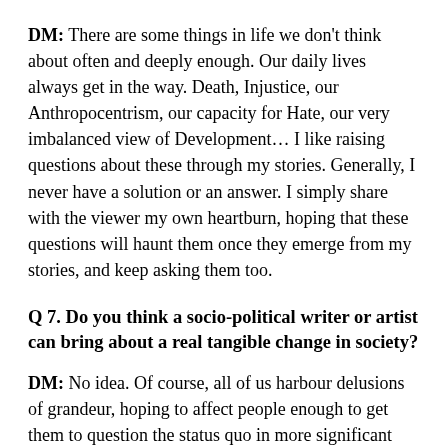DM: There are some things in life we don't think about often and deeply enough. Our daily lives always get in the way. Death, Injustice, our Anthropocentrism, our capacity for Hate, our very imbalanced view of Development... I like raising questions about these through my stories. Generally, I never have a solution or an answer. I simply share with the viewer my own heartburn, hoping that these questions will haunt them once they emerge from my stories, and keep asking them too.
Q 7. Do you think a socio-political writer or artist can bring about a real tangible change in society?
DM: No idea. Of course, all of us harbour delusions of grandeur, hoping to affect people enough to get them to question the status quo in more significant numbers to effect social, political, anthropological change. We see dreams of this happening when we write our stories and